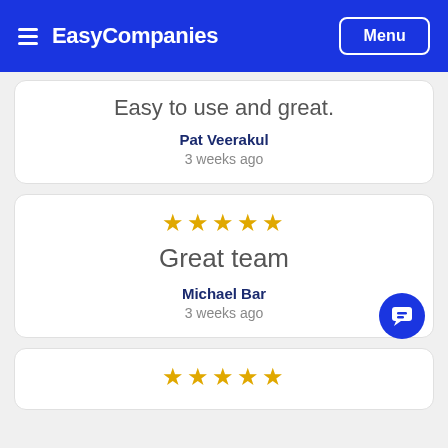EasyCompanies | Menu
Easy to use and great.
Pat Veerakul
3 weeks ago
[Figure (other): 5 gold star rating]
Great team
Michael Bar
3 weeks ago
[Figure (other): 5 gold star rating (partial, bottom card)]